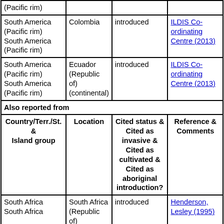| Country/Terr./St. & Island group | Location | Cited status & Cited as invasive & Cited as cultivated & Cited as aboriginal introduction? | Reference & Comments |
| --- | --- | --- | --- |
| (Pacific rim) |  |  |  |
| South America (Pacific rim)
South America (Pacific rim) | Colombia | introduced | ILDIS Co-ordinating Centre (2013) |
| South America (Pacific rim)
South America (Pacific rim) | Ecuador (Republic of) (continental) | introduced | ILDIS Co-ordinating Centre (2013) |
| Also reported from |  |  |  |
| Country/Terr./St. & Island group | Location | Cited status & Cited as invasive & Cited as cultivated & Cited as aboriginal introduction? | Reference & Comments |
| South Africa
South Africa | South Africa (Republic of) | introduced | Henderson, Lesley (1995) |